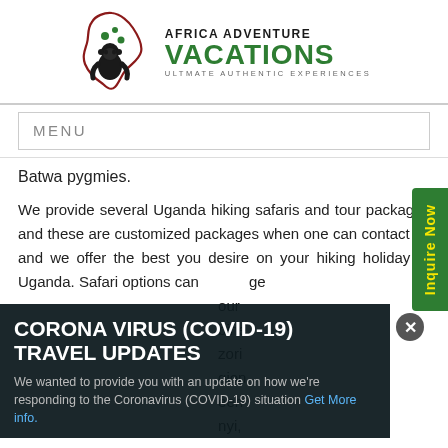[Figure (logo): Africa Adventure Vacations logo with gorilla silhouette on Africa map outline, red and dark green colors. Text: AFRICA ADVENTURE VACATIONS, ULTMATE AUTHENTIC EXPERIENCES]
MENU
Batwa pygmies.
We provide several Uganda hiking safaris and tour packages and these are customized packages when one can contact us and we offer the best you desire on your hiking holiday to Uganda. Safari options can range...our...bine...zori...gion...een...nyi,
[Figure (other): Inquire Now green vertical button on right side with yellow text]
CORONA VIRUS (COVID-19) TRAVEL UPDATES
We wanted to provide you with an update on how we're responding to the Coronavirus (COVID-19) situation Get More info.